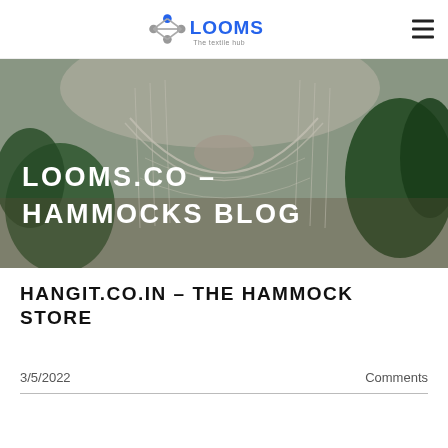LOOMS – The Textile Hub (navigation header with logo and hamburger menu)
[Figure (photo): Hero banner photo of a woman relaxing in a macramé hammock indoors surrounded by plants, with text overlay 'LOOMS.CO – HAMMOCKS BLOG']
LOOMS.CO – HAMMOCKS BLOG
HANGIT.CO.IN – THE HAMMOCK STORE
3/5/2022
Comments